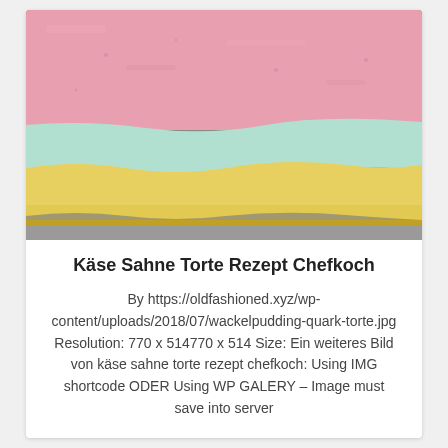[Figure (photo): Close-up cross-section of a layered cake with pink top layer, mint/teal middle layer, yellow sponge bottom layer, on a gray surface]
Käse Sahne Torte Rezept Chefkoch
By https://oldfashioned.xyz/wp-content/uploads/2018/07/wackelpudding-quark-torte.jpg Resolution: 770 x 514770 x 514 Size: Ein weiteres Bild von käse sahne torte rezept chefkoch: Using IMG shortcode ODER Using WP GALERY – Image must save into server